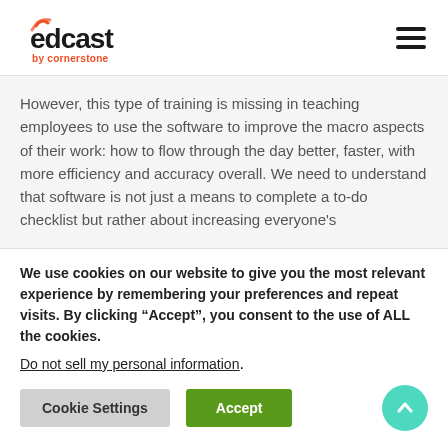[Figure (logo): EdCast by Cornerstone logo with WiFi arc above the 'e', orange 'by cornerstone' tagline below]
However, this type of training is missing in teaching employees to use the software to improve the macro aspects of their work: how to flow through the day better, faster, with more efficiency and accuracy overall. We need to understand that software is not just a means to complete a to-do checklist but rather about increasing everyone's
We use cookies on our website to give you the most relevant experience by remembering your preferences and repeat visits. By clicking “Accept”, you consent to the use of ALL the cookies.
Do not sell my personal information.